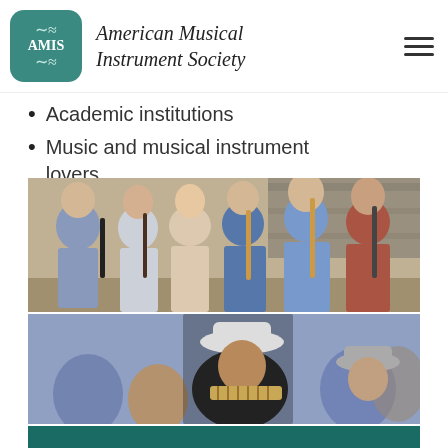American Musical Instrument Society
Academic institutions
Music and musical instrument lovers
[Figure (photo): Group photo of an older man and four young students holding wind instruments (recorders, clarinets, baroque flutes) in what appears to be a rehearsal room.]
[Figure (photo): A man in a white hat and traditional Andean clothing playing a pan flute (panpipes) in a crowd setting.]
[Figure (other): Teal/dark green banner bar at the bottom of the page.]